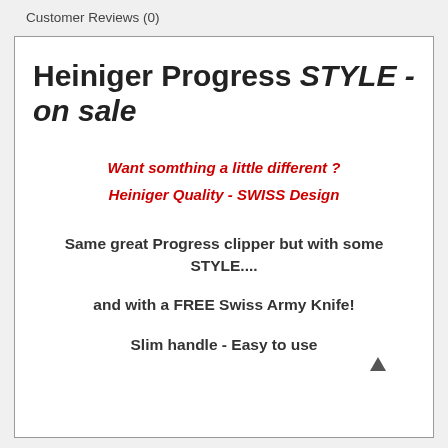Customer Reviews (0)
Heiniger Progress STYLE - on sale
Want somthing a little different ?
Heiniger Quality - SWISS Design
Same great Progress clipper but with some STYLE....
and with a FREE Swiss Army Knife!
Slim handle - Easy to use